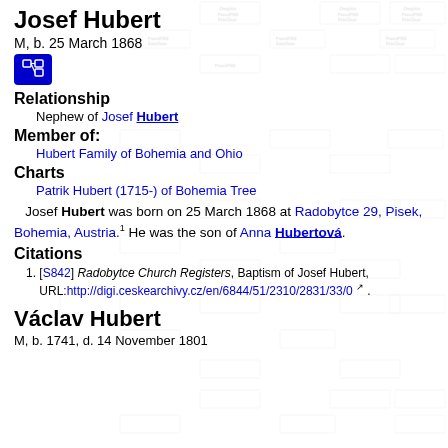Josef Hubert
M, b. 25 March 1868
Relationship
Nephew of Josef Hubert
Member of:
Hubert Family of Bohemia and Ohio
Charts
Patrik Hubert (1715-) of Bohemia Tree
Josef Hubert was born on 25 March 1868 at Radobytce 29, Pisek, Bohemia, Austria.1 He was the son of Anna Hubertová.
Citations
1. [S842] Radobytce Church Registers, Baptism of Josef Hubert, URL: http://digi.ceskearchivy.cz/en/6844/51/2310/2831/33/0 .
Václav Hubert
M, b. 1741, d. 14 November 1801